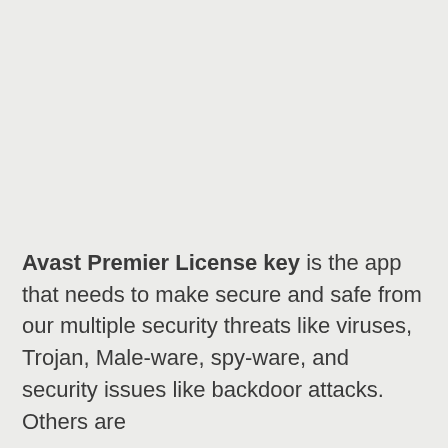Avast Premier License key is the app that needs to make secure and safe from our multiple security threats like viruses, Trojan, Male-ware, spy-ware, and security issues like backdoor attacks. Others are